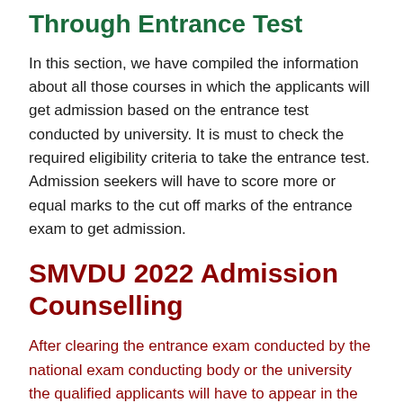Through Entrance Test
In this section, we have compiled the information about all those courses in which the applicants will get admission based on the entrance test conducted by university. It is must to check the required eligibility criteria to take the entrance test. Admission seekers will have to score more or equal marks to the cut off marks of the entrance exam to get admission.
SMVDU 2022 Admission Counselling
After clearing the entrance exam conducted by the national exam conducting body or the university the qualified applicants will have to appear in the counselling session. Here...